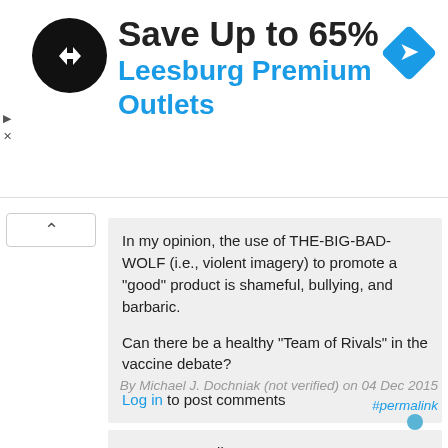[Figure (screenshot): Advertisement banner for Leesburg Premium Outlets with circular black logo with double arrow, 'Save Up to 65%' headline, and blue diamond navigation icon]
In my opinion, the use of THE-BIG-BAD-WOLF (i.e., violent imagery) to promote a "good" product is shameful, bullying, and barbaric.

Can there be a healthy "Team of Rivals" in the vaccine debate?

Log in to post comments
By Michael J. Dochniak (not verified) on 04 Dec 2015 #permalink
# 46 Not a Troll

'found out that people are already being killed over vaccinations...